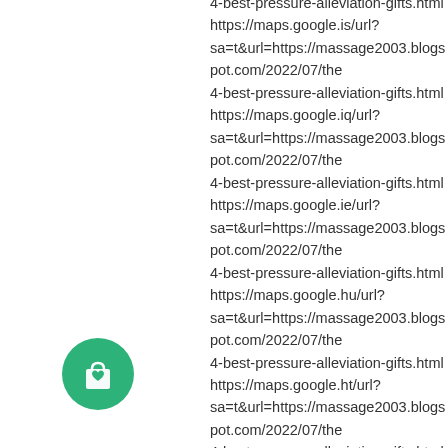4-best-pressure-alleviation-gifts.html https://maps.google.is/url? sa=t&url=https://massage2003.blogspot.com/2022/07/the 4-best-pressure-alleviation-gifts.html https://maps.google.iq/url? sa=t&url=https://massage2003.blogspot.com/2022/07/the 4-best-pressure-alleviation-gifts.html https://maps.google.ie/url? sa=t&url=https://massage2003.blogspot.com/2022/07/the 4-best-pressure-alleviation-gifts.html https://maps.google.hu/url? sa=t&url=https://massage2003.blogspot.com/2022/07/the 4-best-pressure-alleviation-gifts.html https://maps.google.ht/url? sa=t&url=https://massage2003.blogspot.com/2022/07/the 4-best-pressure-alleviation-gifts.html https://maps.google.hr/url? sa=t&url=https://massage2003.blogspot.com/2022/07/the
[Figure (illustration): Green circular icon with a shopping bag with a heart symbol]